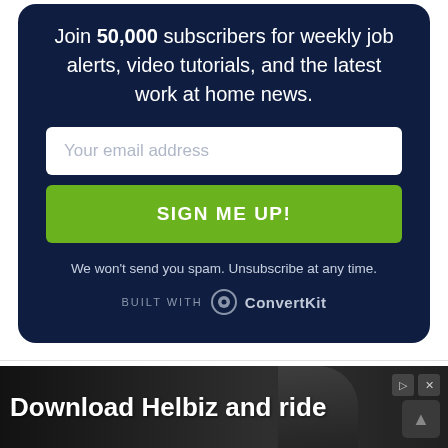Join 50,000 subscribers for weekly job alerts, video tutorials, and the latest work at home news.
[Figure (screenshot): Email signup form with input field placeholder 'Your email address', green 'SIGN ME UP!' button, spam disclaimer, and ConvertKit branding on a dark navy background card.]
We won't send you spam. Unsubscribe at any time.
BUILT WITH ConvertKit
[Figure (photo): Advertisement banner: 'Download Helbiz and ride' with dark background showing someone riding a scooter.]